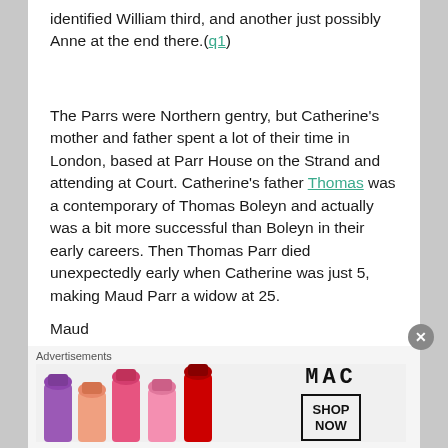identified William third, and another just possibly Anne at the end there.(q1)
The Parrs were Northern gentry, but Catherine's mother and father spent a lot of their time in London, based at Parr House on the Strand and attending at Court. Catherine's father Thomas was a contemporary of Thomas Boleyn and actually was a bit more successful than Boleyn in their early careers. Then Thomas Parr died unexpectedly early when Catherine was just 5, making Maud Parr a widow at 25.
Maud ...
[Figure (advertisement): MAC Cosmetics advertisement showing lipsticks with MAC wordmark and SHOP NOW button]